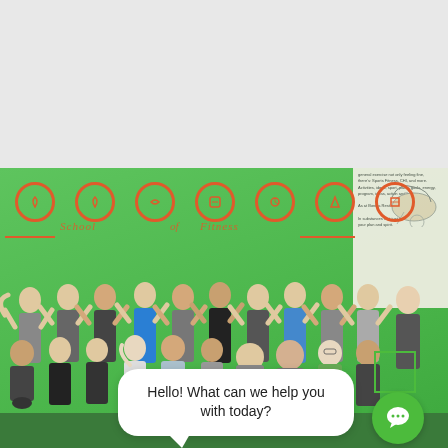[Figure (photo): Group photo of approximately 30 fitness gym members posing and flexing their muscles in front of a bright green wall with orange circular icons and 'School of Fitness' text. The gym has a green turf floor. A white chat bubble overlay reads 'Hello! What can we help you with today?' with a green chat icon in the bottom right corner.]